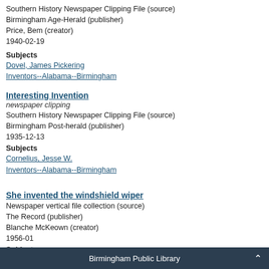Southern History Newspaper Clipping File (source)
Birmingham Age-Herald (publisher)
Price, Bem (creator)
1940-02-19
Subjects
Dovel, James Pickering
Inventors--Alabama--Birmingham
Interesting Invention
newspaper clipping
Southern History Newspaper Clipping File (source)
Birmingham Post-herald (publisher)
1935-12-13
Subjects
Cornelius, Jesse W.
Inventors--Alabama--Birmingham
She invented the windshield wiper
Newspaper vertical file collection (source)
The Record (publisher)
Blanche McKeown (creator)
1956-01
Subjects
Anderson, Mary, 1920
Inventors--Alabama--Birmingham
Women inventors--Alabama
Windshield wipers
Birmingham Public Library